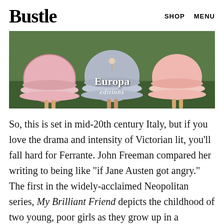Bustle   SHOP   MENU
[Figure (photo): Book cover image showing three girls or figures in ruffled dresses from behind standing on grass, with Europa Editions logo overlay in white text]
So, this is set in mid-20th century Italy, but if you love the drama and intensity of Victorian lit, you'll fall hard for Ferrante. John Freeman compared her writing to being like "if Jane Austen got angry." The first in the widely-acclaimed Neopolitan series, My Brilliant Friend depicts the childhood of two young, poor girls as they grow up in a turbulent Naples,